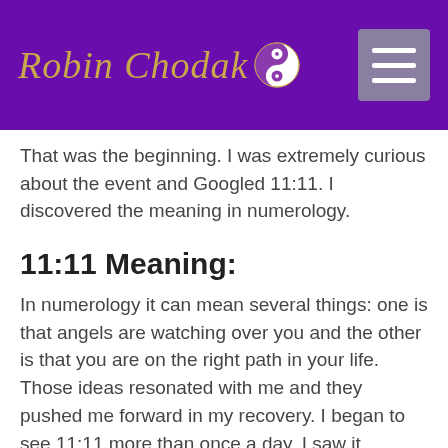Robin Chodak
That was the beginning. I was extremely curious about the event and Googled 11:11. I discovered the meaning in numerology.
11:11 Meaning:
In numerology it can mean several things: one is that angels are watching over you and the other is that you are on the right path in your life. Those ideas resonated with me and they pushed me forward in my recovery. I began to see 11:11 more than once a day. I saw it everywhere such as license plates, billboards, and on